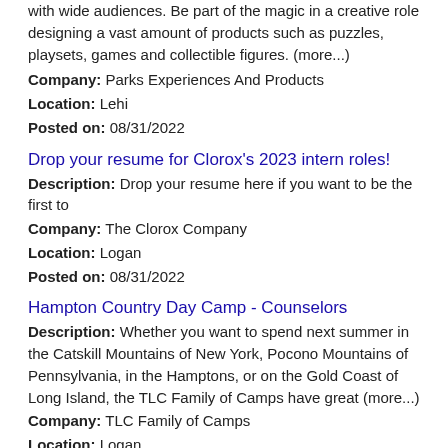with wide audiences. Be part of the magic in a creative role designing a vast amount of products such as puzzles, playsets, games and collectible figures. (more...)
Company: Parks Experiences And Products
Location: Lehi
Posted on: 08/31/2022
Drop your resume for Clorox's 2023 intern roles!
Description: Drop your resume here if you want to be the first to
Company: The Clorox Company
Location: Logan
Posted on: 08/31/2022
Hampton Country Day Camp - Counselors
Description: Whether you want to spend next summer in the Catskill Mountains of New York, Pocono Mountains of Pennsylvania, in the Hamptons, or on the Gold Coast of Long Island, the TLC Family of Camps have great (more...)
Company: TLC Family of Camps
Location: Logan
Posted on: 08/31/2022
Get Paid to Evaluate Products at Home $25-$45/hr. PT/FT. No Exp. Required